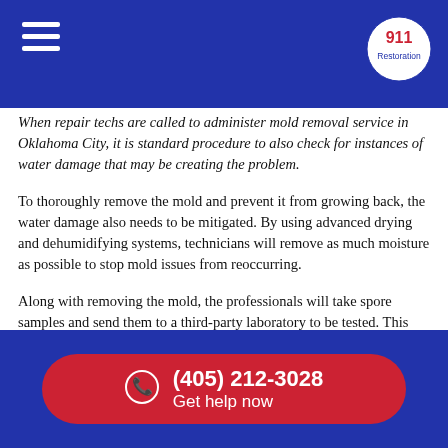911 Restoration (navigation header)
When repair techs are called to administer mold removal service in Oklahoma City, it is standard procedure to also check for instances of water damage that may be creating the problem.
To thoroughly remove the mold and prevent it from growing back, the water damage also needs to be mitigated. By using advanced drying and dehumidifying systems, technicians will remove as much moisture as possible to stop mold issues from reoccurring.
Along with removing the mold, the professionals will take spore samples and send them to a third-party laboratory to be tested. This will determine whether or not the mold poses a health hazard and allow technicians to take the appropriate mitigation steps. Call us at (405) 212-3028 and see how we can help you.
Mold can damage the respiratory system of those spending significant time in the property and can severely exacerbate the
(405) 212-3028 Get help now